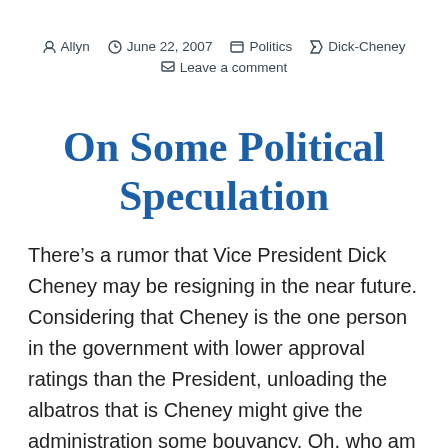Allyn  June 22, 2007  Politics  Dick-Cheney  Leave a comment
On Some Political Speculation
There’s a rumor that Vice President Dick Cheney may be resigning in the near future. Considering that Cheney is the one person in the government with lower approval ratings than the President, unloading the albatros that is Cheney might give the administration some bouyancy. Oh, who am I kidding? President Bush is his